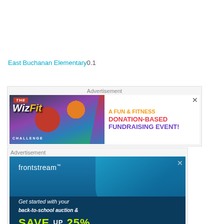East Buchanan Elementary0.1
[Figure (infographic): WizFit Challenge advertisement banner - A Fun & Fitness Donation-Based Fundraising Event]
[Figure (infographic): Frontstream advertisement - Get started with your back-to-school auction & SAVE UP 25%]